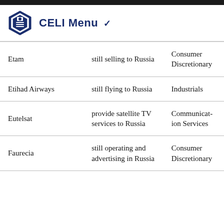CELI Menu
| Company | Status | Sector |
| --- | --- | --- |
| Etam | still selling to Russia | Consumer Discretionary |
| Etihad Airways | still flying to Russia | Industrials |
| Eutelsat | provide satellite TV services to Russia | Communication Services |
| Faurecia | still operating and advertising in Russia | Consumer Discretionary |